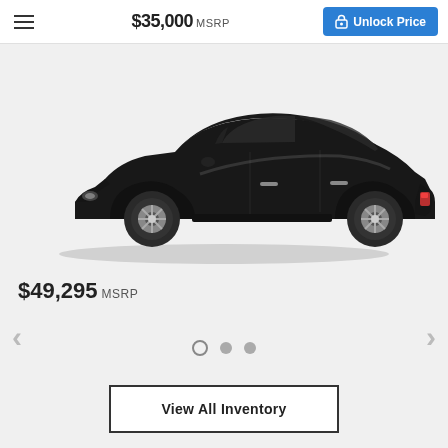$35,000 MSRP | Unlock Price
[Figure (photo): Side profile of a black Mercedes-Benz sedan on a light grey background]
$49,295 MSRP
View All Inventory